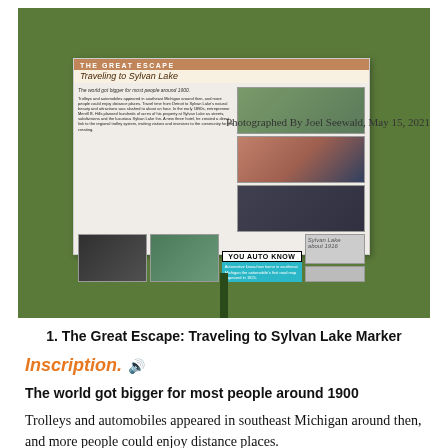[Figure (photo): Photograph of a historical marker sign titled 'The Great Escape: Traveling to Sylvan Lake' mounted on a post in a grassy area. The sign contains historical text, old photographs of trolleys, automobiles, a lake, and a map of Sylvan Lake circa 1916. There is also a 'YOU AUTO KNOW' section with a teal banner. Photographed by Joel Seewald, May 15, 2021.]
Photographed By Joel Seewald, May 15, 2021
1. The Great Escape: Traveling to Sylvan Lake Marker
Inscription.
The world got bigger for most people around 1900
Trolleys and automobiles appeared in southeast Michigan around then, and more people could enjoy distance places.